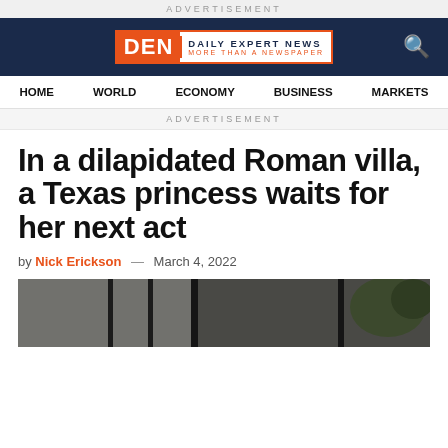ADVERTISEMENT
[Figure (logo): Daily Expert News logo — DEN in orange box with 'DAILY EXPERT NEWS' and 'MORE THAN A NEWSPAPER' tagline. Search icon on right. Dark navy header bar.]
HOME  WORLD  ECONOMY  BUSINESS  MARKETS
ADVERTISEMENT
In a dilapidated Roman villa, a Texas princess waits for her next act
by Nick Erickson — March 4, 2022
[Figure (photo): Partial photo of interior scene through windows with trees visible outside, dark tones]